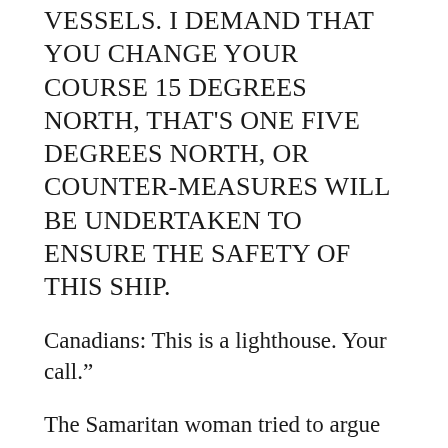THREE CRUISERS AND NUMEROUS SUPPORT VESSELS. I DEMAND THAT YOU CHANGE YOUR COURSE 15 DEGREES NORTH, THAT'S ONE FIVE DEGREES NORTH, OR COUNTER-MEASURES WILL BE UNDERTAKEN TO ENSURE THE SAFETY OF THIS SHIP.
Canadians: This is a lighthouse. Your call.”
The Samaritan woman tried to argue with Jesus. When she realized that He was her lighthouse, she changed her course.
Ask yourself: Am I arguing with Jesus about the any of the circumstances of my life? When we drink His Living Water, and as long as we stay within His light, we can be sure that we are not